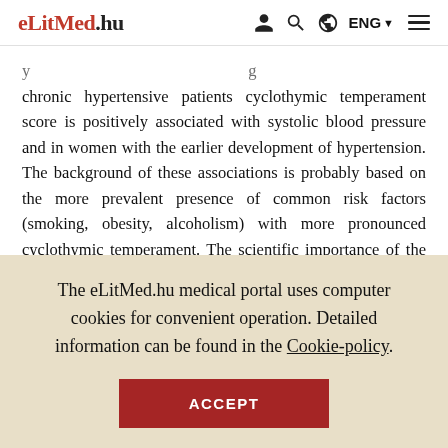eLitMed.hu | ENG
chronic hypertensive patients cyclothymic temperament score is positively associated with systolic blood pressure and in women with the earlier development of hypertension. The background of these associations is probably based on the more prevalent presence of common risk factors (smoking, obesity, alcoholism) with more pronounced cyclothymic temperament. The scientific importance of the research of the associations
The eLitMed.hu medical portal uses computer cookies for convenient operation. Detailed information can be found in the Cookie-policy.
ACCEPT